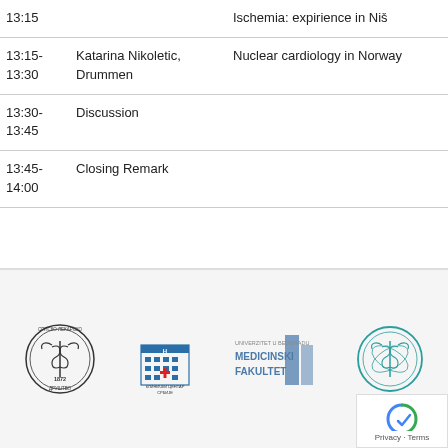| Time | Speaker | Topic |
| --- | --- | --- |
| 13:15 |  | Ischemia: expirience in Niš |
| 13:15-13:30 | Katarina Nikoletic, Drummen | Nuclear cardiology in Norway |
| 13:30-13:45 | Discussion |  |
| 13:45-14:00 | Closing Remark |  |
[Figure (logo): Four institutional logos: Srpsko lekarsko drustvo (1872), Klinicki Centar Srbije, Univerzitet u Beogradu Medicinski Fakultet, and a fourth medical organization logo]